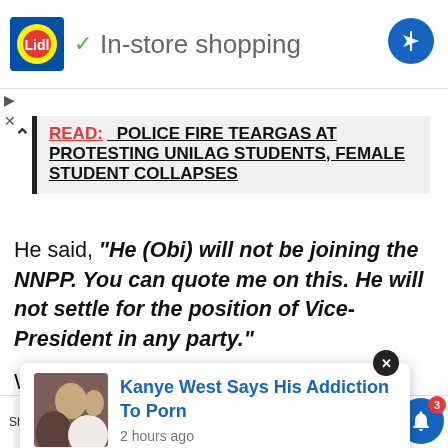[Figure (screenshot): Lidl advertisement banner with logo, checkmark, and 'In-store shopping' text]
READ:  POLICE FIRE TEARGAS AT PROTESTING UNILAG STUDENTS, FEMALE STUDENT COLLAPSES
He said, “He (Obi) will not be joining the NNPP. You can quote me on this. He will not settle for the position of Vice-President in any party.”
When asked which party the former governor would
[Figure (screenshot): Popup card: Kanye West Says His Addiction To Porn, 2 hours ago]
Shares | Facebook | Twitter | WhatsApp | Messenger | Bell notification 3